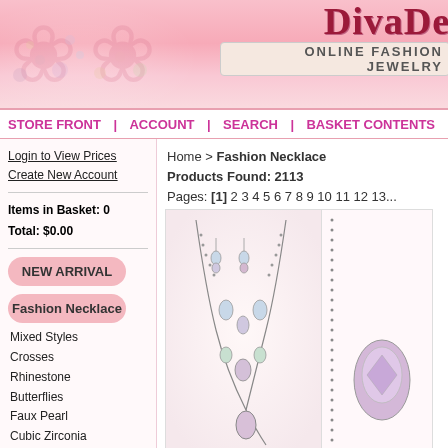[Figure (screenshot): DivaDe online fashion jewelry website header banner with logo and pink floral background]
STORE FRONT | ACCOUNT | SEARCH | BASKET CONTENTS | SAV...
Login to View Prices
Create New Account
Items in Basket: 0
Total: $0.00
NEW ARRIVAL
Fashion Necklace
Mixed Styles
Crosses
Rhinestone
Butterflies
Faux Pearl
Cubic Zirconia
Home > Fashion Necklace
Products Found: 2113
Pages: [1] 2 3 4 5 6 7 8 9 10 11 12 13...
[Figure (photo): Fashion necklace and earrings set with rhinestones on display]
[Figure (photo): Partial view of another fashion necklace]